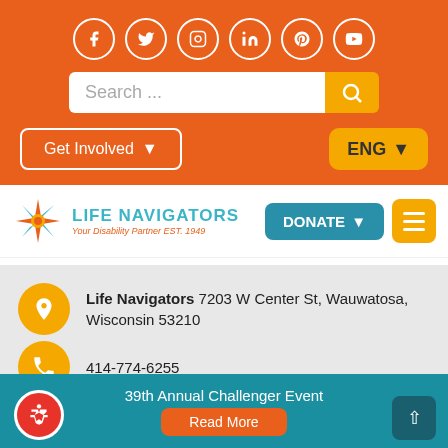Social media icons: Facebook, Twitter, Instagram, LinkedIn, Pinterest, YouTube
Search ...
Get Involved ▾
ENG ▾
[Figure (logo): Life Navigators logo with star/compass design, tagline: Your Disability Partner EST. 1949]
DONATE ▾
Life Navigators 7203 W Center St, Wauwatosa, Wisconsin 53210
414-774-6255
information@lifenavigators.org
39th Annual Challenger Event
Read More